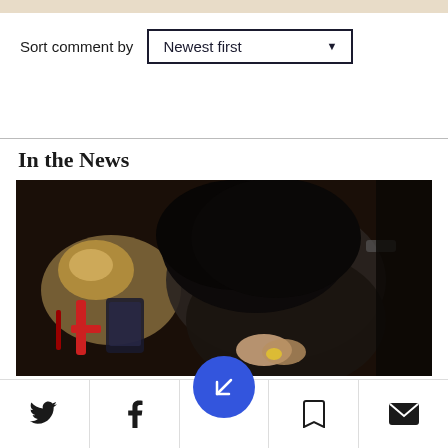Sort comment by   Newest first
In the News
[Figure (photo): A person with dark hair bending over and examining something small held in their hands. In the background, a dog and a red object are visible, with dim indoor lighting.]
[Figure (infographic): Bottom navigation bar with Twitter, Facebook, a blue circular navigation button, bookmark, and mail icons.]